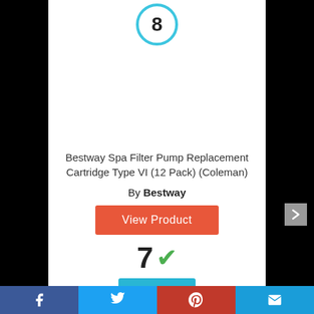[Figure (other): Rank badge circle with number 8 inside, teal/blue border]
[Figure (illustration): Grid of 12 Bestway spa filter cartridges arranged in 3 rows of 4, blue and white cylindrical filters]
Bestway Spa Filter Pump Replacement Cartridge Type VI (12 Pack) (Coleman)
By Bestway
View Product
7 ✓
Score
Facebook | Twitter | Pinterest | Email